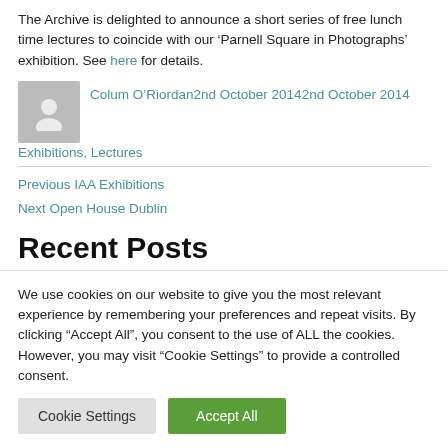The Archive is delighted to announce a short series of free lunch time lectures to coincide with our ‘Parnell Square in Photographs’ exhibition. See here for details.
Colum O’Riordan2nd October 20142nd October 2014Exhibitions, Lectures
Previous IAA Exhibitions
Next Open House Dublin
Recent Posts
We use cookies on our website to give you the most relevant experience by remembering your preferences and repeat visits. By clicking “Accept All”, you consent to the use of ALL the cookies. However, you may visit “Cookie Settings” to provide a controlled consent.